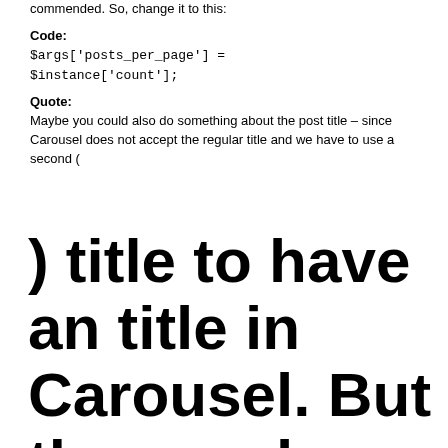commended. So, change it to this:
Code:
$args['posts_per_page'] = $instance['count'];
Quote:
Maybe you could also do something about the post title – since Carousel does not accept the regular title and we have to use a second (
) title to have an title in Carousel. But than we have two titles in the post (and preview) or an